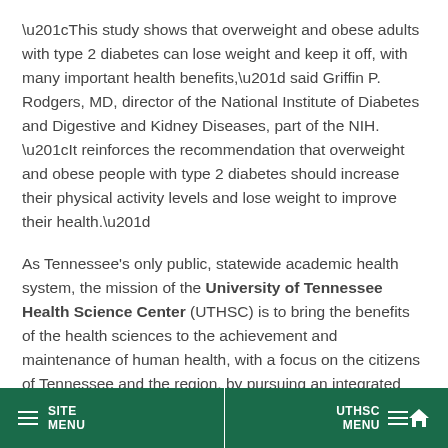“This study shows that overweight and obese adults with type 2 diabetes can lose weight and keep it off, with many important health benefits,” said Griffin P. Rodgers, MD, director of the National Institute of Diabetes and Digestive and Kidney Diseases, part of the NIH. “It reinforces the recommendation that overweight and obese people with type 2 diabetes should increase their physical activity levels and lose weight to improve their health.”
As Tennessee’s only public, statewide academic health system, the mission of the University of Tennessee Health Science Center (UTHSC) is to bring the benefits of the health sciences to the achievement and maintenance of human health, with a focus on the citizens of Tennessee and the region, by pursuing an integrated program of education, research, clinical care, and public service. Offering a broad
SITE MENU | UTHSC MENU